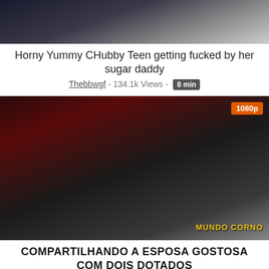[Figure (photo): Video thumbnail showing a close-up adult content image, partially visible at top]
Horny Yummy CHubby Teen getting fucked by her sugar daddy
Thebbwgf - 134.1k Views - 8 min
[Figure (photo): Video thumbnail showing adult content with 1080p badge in top right and MUNDO CORNO watermark in bottom right]
COMPARTILHANDO A ESPOSA GOSTOSA COM DOIS DOTADOS
Mundo Corno - 1.8M Views - 11 min